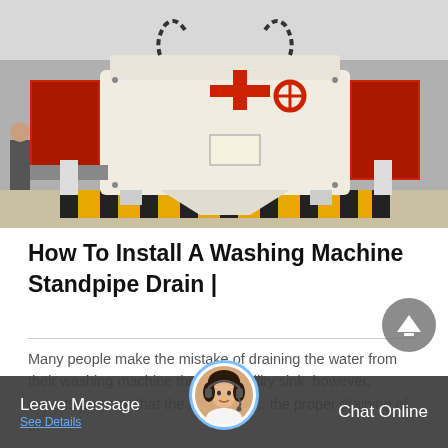[Figure (photo): Large industrial crushing machine with white body and red accents, mounted on a yellow and black striped platform inside a factory/warehouse setting.]
How To Install A Washing Machine Standpipe Drain |
Many people make the mistake of draining the water from their washing machine through a utility sink. however, experts propose that the best way t... the proper draining of th
[Figure (photo): Customer support avatar: a woman wearing a headset, circular photo with blue border ring.]